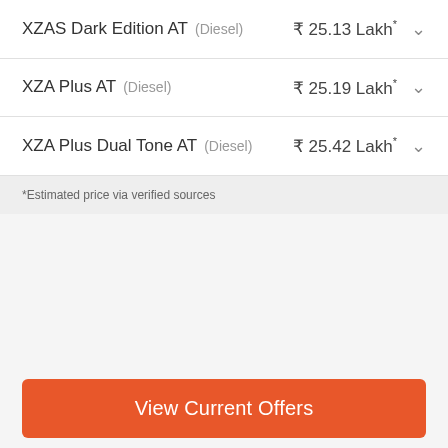XZAS Dark Edition AT (Diesel) ₹ 25.13 Lakh*
XZA Plus AT (Diesel) ₹ 25.19 Lakh*
XZA Plus Dual Tone AT (Diesel) ₹ 25.42 Lakh*
*Estimated price via verified sources
View Current Offers